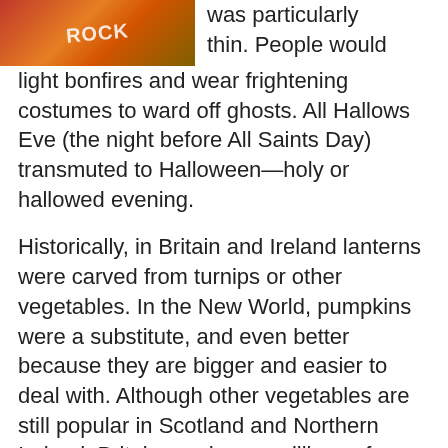[Figure (photo): Person in a red shirt with text, outdoor background]
was particularly thin. People would light bonfires and wear frightening costumes to ward off ghosts. All Hallows Eve (the night before All Saints Day) transmuted to Halloween—holy or hallowed evening.
Historically, in Britain and Ireland lanterns were carved from turnips or other vegetables. In the New World, pumpkins were a substitute, and even better because they are bigger and easier to deal with. Although other vegetables are still popular in Scotland and Northern Ireland, Britain purchases millions of pumpkins for Halloween.
In 1837, the term Jack-O-
[Figure (photo): A pale yellow-green pumpkin or gourd, close-up photo]